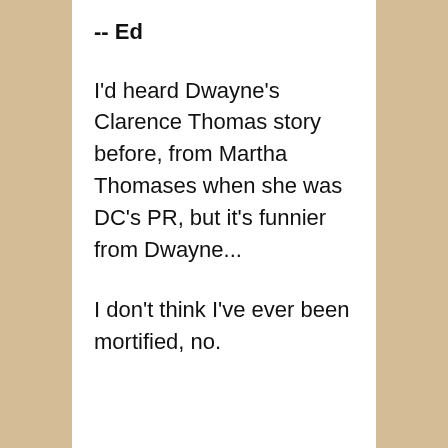-- Ed
I'd heard Dwayne's Clarence Thomas story before, from Martha Thomases when she was DC's PR, but it's funnier from Dwayne...
I don't think I've ever been mortified, no.